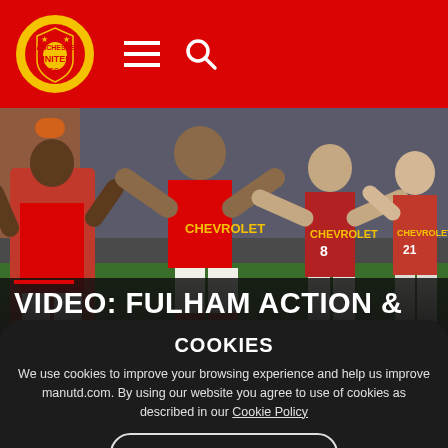[Figure (screenshot): Manchester United website header with red background, club logo (crest), hamburger menu icon, and search icon]
[Figure (photo): Manchester United players celebrating on a football pitch, wearing red Chevrolet-sponsored kits, during the Fulham match]
VIDEO: FULHAM ACTION & REACTION
COOKIES
We use cookies to improve your browsing experience and help us improve manutd.com. By using our website you agree to use of cookies as described in our Cookie Policy
OK